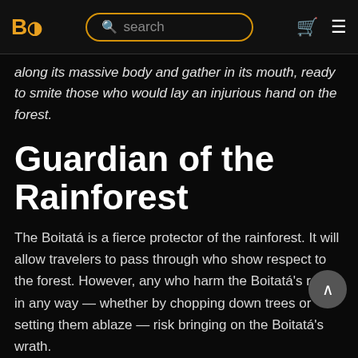BO | search | cart | menu
along its massive body and gather in its mouth, ready to smite those who would lay an injurious hand on the forest.
Guardian of the Rainforest
The Boitatá is a fierce protector of the rainforest. It will allow travelers to pass through who show respect to the forest. However, any who harm the Boitatá's realm in any way — whether by chopping down trees or setting them ablaze — risk bringing on the Boitatá's wrath.